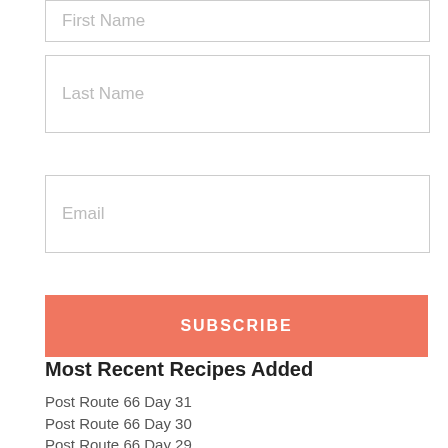First Name
Last Name
Email
SUBSCRIBE
Most Recent Recipes Added
Post Route 66 Day 31
Post Route 66 Day 30
Post Route 66 Day 29